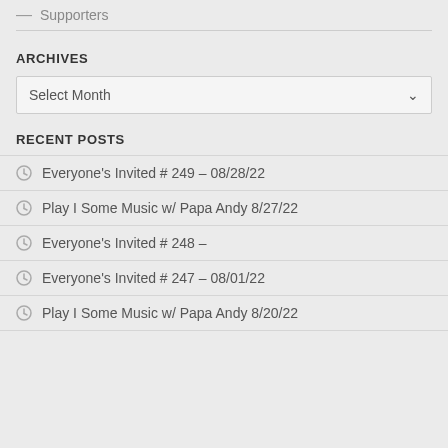— Supporters
ARCHIVES
Select Month
RECENT POSTS
Everyone's Invited # 249 – 08/28/22
Play I Some Music w/ Papa Andy 8/27/22
Everyone's Invited # 248 –
Everyone's Invited # 247 – 08/01/22
Play I Some Music w/ Papa Andy 8/20/22